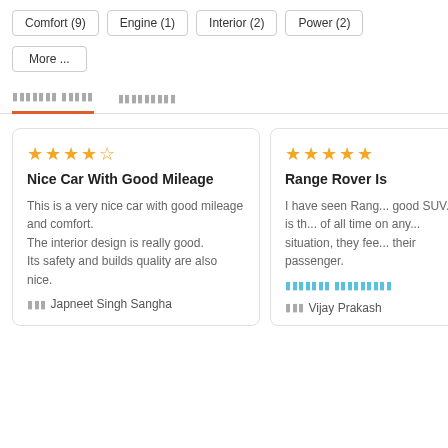Comfort (9)
Engine (1)
Interior (2)
Power (2)
More ...
ооооооо оооо    оооооооо
★★★★☆ Nice Car With Good Mileage
This is a very nice car with good mileage and comfort.
The interior design is really good.
Its safety and builds quality are also nice.
Japneet Singh Sangha
★★★★★ Range Rover Is...
I have seen Range... good SUV. It is th... of all time on any... situation, they fee... their passenger.
Vijay Prakash